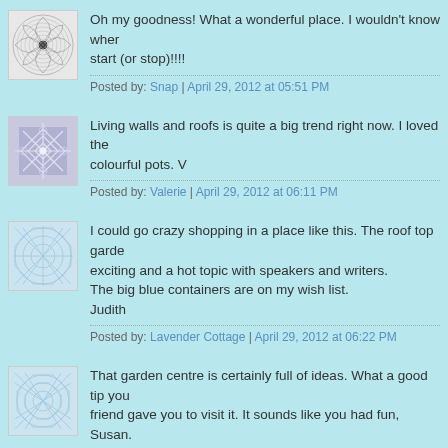Oh my goodness! What a wonderful place. I wouldn't know wher start (or stop)!!!!
Posted by: Snap | April 29, 2012 at 05:51 PM
Living walls and roofs is quite a big trend right now. I loved the colourful pots. V
Posted by: Valerie | April 29, 2012 at 06:11 PM
I could go crazy shopping in a place like this. The roof top garde exciting and a hot topic with speakers and writers. The big blue containers are on my wish list. Judith
Posted by: Lavender Cottage | April 29, 2012 at 06:22 PM
That garden centre is certainly full of ideas. What a good tip you friend gave you to visit it. It sounds like you had fun, Susan. -Karen
Posted by: My Little Home and Garden | April 29, 2012 at 06:39 PM